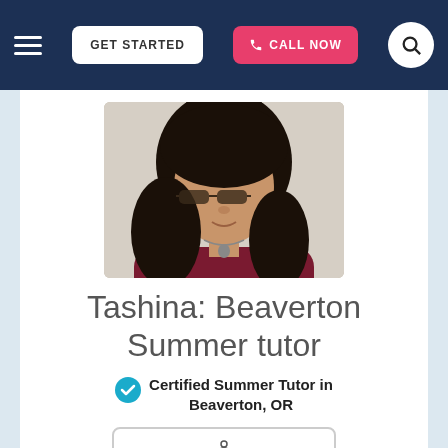≡  GET STARTED  📞 CALL NOW  🔍
[Figure (photo): Profile photo of Tashina, a young woman with long dark hair and glasses, wearing a dark red top and a heart necklace, smiling slightly at the camera.]
Tashina: Beaverton Summer tutor
Certified Summer Tutor in Beaverton, OR